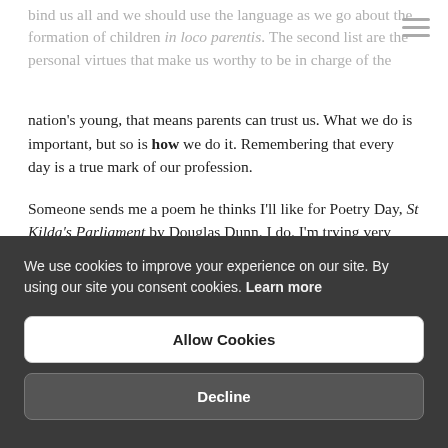bind us all and we should use the language as we go about the formation of children in loco parentis. The second list are the personal virtues that make us worthy to be in charge of the nation's young, that means parents can trust us. What we do is important, but so is how we do it. Remembering that every day is a true mark of our profession.
Someone sends me a poem he thinks I'll like for Poetry Day, St Kilda's Parliament by Douglas Dunn. I do. I'm trying very hard not to think about parliaments at the moment but this moving piece is based on a photograph taken in 1879 by Washington Wilson, fifty years before the islands were abandoned and the people chose to move to the mainland.
We use cookies to improve your experience on our site. By using our site you consent cookies. Learn more